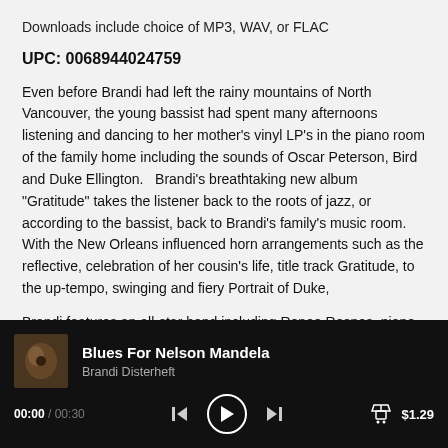Downloads include choice of MP3, WAV, or FLAC
UPC: 0068944024759
Even before Brandi had left the rainy mountains of North Vancouver, the young bassist had spent many afternoons listening and dancing to her mother's vinyl LP's in the piano room of the family home including the sounds of Oscar Peterson, Bird and Duke Ellington.   Brandi's breathtaking new album "Gratitude" takes the listener back to the roots of jazz, or according to the bassist, back to Brandi's family's music room.  With the New Orleans influenced horn arrangements such as the reflective, celebration of her cousin's life, title track Gratitude, to the up-tempo, swinging and fiery Portrait of Duke,
Brandi features an all-star band including Renee Rosnes, piano, Gregory Hutchinson (Ray Brown's drummer), drums, Sean Jones
[Figure (screenshot): Music player bar showing track 'Blues For Nelson Mandela' by Brandi Disterheft, with playback controls, time 00:00 / 00:30, cart icon, and price $1.29]